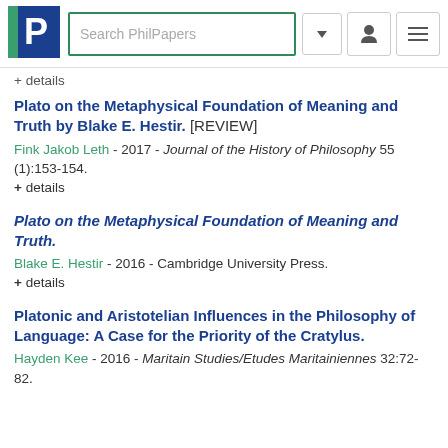[Figure (logo): PhilPapers logo - blue P letter with green bar on left, and search bar with navigation icons]
+ details
Plato on the Metaphysical Foundation of Meaning and Truth by Blake E. Hestir. [REVIEW]
Fink Jakob Leth - 2017 - Journal of the History of Philosophy 55 (1):153-154.
+ details
Plato on the Metaphysical Foundation of Meaning and Truth.
Blake E. Hestir - 2016 - Cambridge University Press.
+ details
Platonic and Aristotelian Influences in the Philosophy of Language: A Case for the Priority of the Cratylus.
Hayden Kee - 2016 - Maritain Studies/Etudes Maritainiennes 32:72-82.